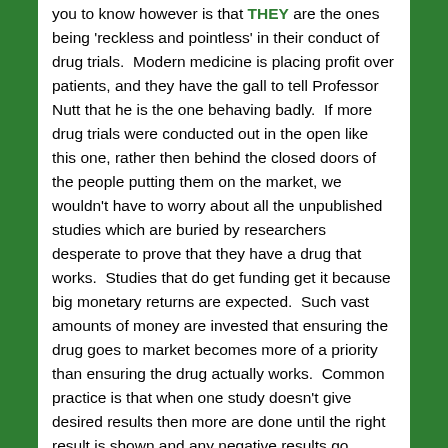you to know however is that THEY are the ones being 'reckless and pointless' in their conduct of drug trials. Modern medicine is placing profit over patients, and they have the gall to tell Professor Nutt that he is the one behaving badly. If more drug trials were conducted out in the open like this one, rather then behind the closed doors of the people putting them on the market, we wouldn't have to worry about all the unpublished studies which are buried by researchers desperate to prove that they have a drug that works. Studies that do get funding get it because big monetary returns are expected. Such vast amounts of money are invested that ensuring the drug goes to market becomes more of a priority than ensuring the drug actually works. Common practice is that when one study doesn't give desired results then more are done until the right result is shown and any negative results go unpublished. Not a hard task to pull off when the science is done in secrecy and the journals are owned by the pharmaceutical companies! The point of conducting scientific experiments is that they should be able to be replicated with the same results by more than one group of scientists, yet this key stage of evidence based science